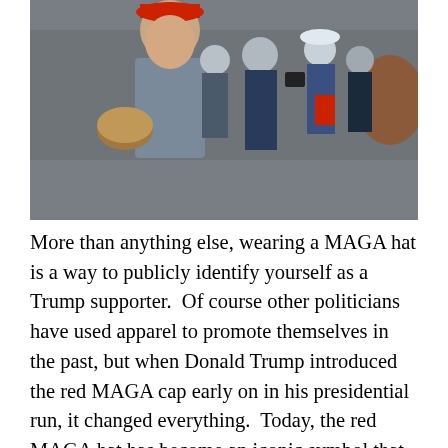[Figure (photo): A teenage boy wearing a red MAGA hat smiles while standing close to an older Native American man who is playing a drum. A crowd of other young people in the background watch the encounter.]
More than anything else, wearing a MAGA hat is a way to publicly identify yourself as a Trump supporter.  Of course other politicians have used apparel to promote themselves in the past, but when Donald Trump introduced the red MAGA cap early on in his presidential run, it changed everything.  Today, the red MAGA hat has become an iconic symbol that is instantly recognizable everywhere in the entire country, but it is also a lightning rod that can provoke a violent backlash from those on the left.  And for millions of teens that wish to rebel against the dominant